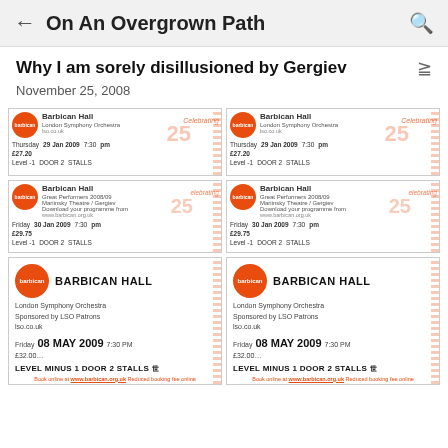← On An Overgrown Path 🔍
Why I am sorely disillusioned by Gergiev
November 25, 2008
[Figure (photo): Six concert tickets from Barbican Hall: two for London Symphony Orchestra on Thursday 29 Jan 2009 at 7:30 pm, £27.20, Level -1 Door 2 Stalls; two for Mariinsky Theatre / Gergiev on Friday 30 Jan 2009 at 7:30 pm, £29.75, Level -1 Door 2 Stalls; two for London Symphony Orchestra on Friday 08 May 2009 at 7:30 PM, £32.00, Level Minus 1 Door 2 Stalls.]